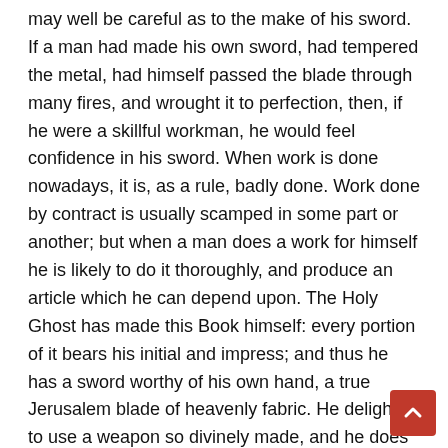may well be careful as to the make of his sword. If a man had made his own sword, had tempered the metal, had himself passed the blade through many fires, and wrought it to perfection, then, if he were a skillful workman, he would feel confidence in his sword. When work is done nowadays, it is, as a rule, badly done. Work done by contract is usually scamped in some part or another; but when a man does a work for himself he is likely to do it thoroughly, and produce an article which he can depend upon. The Holy Ghost has made this Book himself: every portion of it bears his initial and impress; and thus he has a sword worthy of his own hand, a true Jerusalem blade of heavenly fabric. He delights to use a weapon so divinely made, and he does use it right gloriously.
The Word of God is also the sword of the Spirit because he puts the edge upon it. It is because he is in it that it is so keen and cutting. I believe in the inspiration of Holy